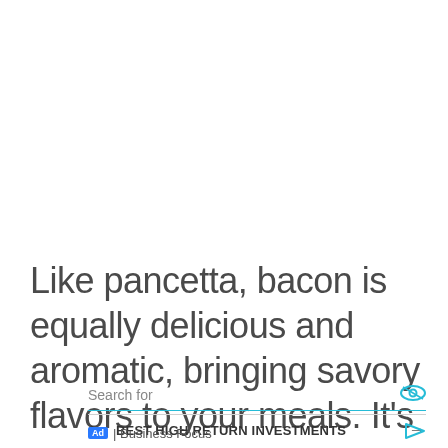Like pancetta, bacon is equally delicious and aromatic, bringing savory flavors to your meals. It’s a
Search for
1. BEST HIGH RETURN INVESTMENTS
2. WATER DAMAGED WALL REPAIR
Ad | Business Focus